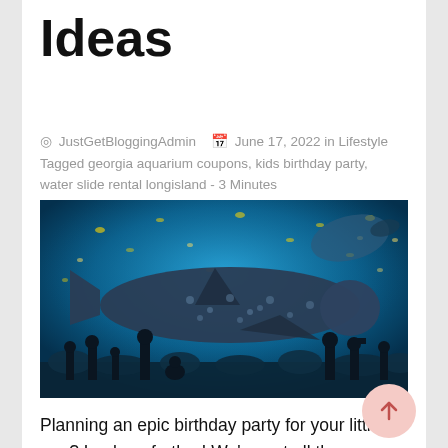Ideas
JustGetBloggingAdmin  June 17, 2022 in Lifestyle
Tagged georgia aquarium coupons, kids birthday party, water slide rental longisland - 3 Minutes
[Figure (photo): Large aquarium tank with a whale shark swimming among many smaller fish, with silhouettes of visitors standing in front of the glass viewing panel]
Planning an epic birthday party for your little one? Look no further! We've got all the ideas you need to make this birthday one for the books. Here are